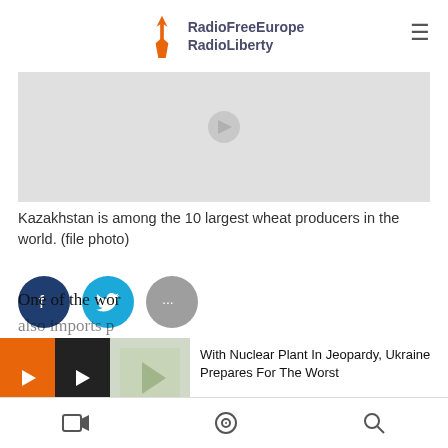RadioFreeEurope RadioLiberty
[Figure (photo): Gray placeholder image area for a photo related to Kazakhstan wheat]
Kazakhstan is among the 10 largest wheat producers in the world. (file photo)
[Figure (infographic): Social sharing buttons: Facebook (dark blue circle with f), Twitter (light blue circle with bird icon), More options (gray circle with ...)]
Kazakhstan's decision to ban wheat exports is really bad news for the country's poorer Central Asian neighbors, which get some 90 percent of their wheat imports from their northern neighbor.
One of the wo... also imports...
[Figure (screenshot): Popup overlay with orange arrow button, video icon, thumbnail, and text: With Nuclear Plant In Jeopardy, Ukraine Prepares For The Worst]
Video icon, Podcast icon, Search icon